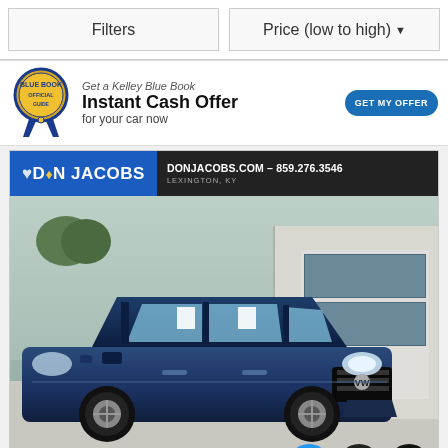Filters
Price (low to high) ▾
[Figure (screenshot): Kelley Blue Book advertisement banner with Blue Book badge logo, headline 'Get a Kelley Blue Book Instant Cash Offer for your car now' and a 'GET MY OFFER' button]
[Figure (photo): Don Jacobs dealership car listing showing a blue Volkswagen Atlas Cross Sport SUV parked in front of the dealership. Dealer header shows 'DON JACOBS' logo in blue/black with 'DONJACOBS.COM – 859.276.3546' and 'LEXINGTON, KY'. Bottom icons include car check, chat, and clipboard icons.]